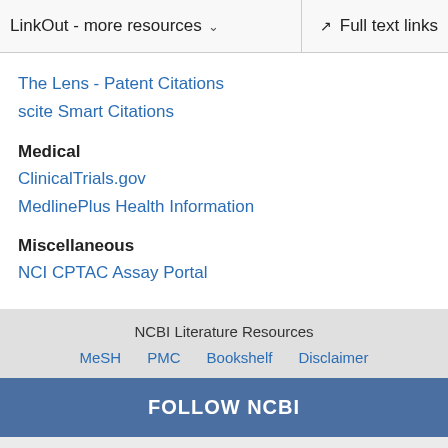LinkOut - more resources   Full text links
The Lens - Patent Citations
scite Smart Citations
Medical
ClinicalTrials.gov
MedlinePlus Health Information
Miscellaneous
NCI CPTAC Assay Portal
NCBI Literature Resources  MeSH  PMC  Bookshelf  Disclaimer
FOLLOW NCBI
[Figure (illustration): Social media icons: Twitter, Facebook, LinkedIn, GitHub, RSS feed]